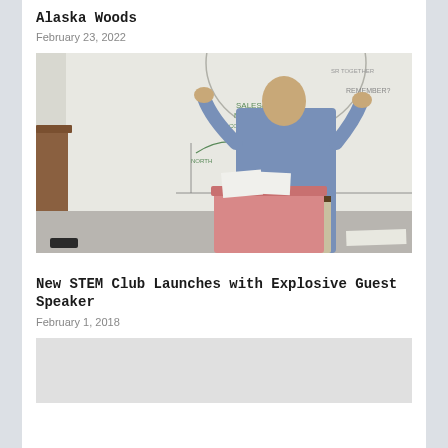Alaska Woods
February 23, 2022
[Figure (photo): A man in a blue shirt gesturing with both hands raised near a whiteboard with diagrams drawn on it. A pink bin/basket is on a table in front of him. A wooden podium is to his left.]
New STEM Club Launches with Explosive Guest Speaker
February 1, 2018
[Figure (photo): A partially visible photo, mostly showing a light gray/white area, bottom of a second article.]